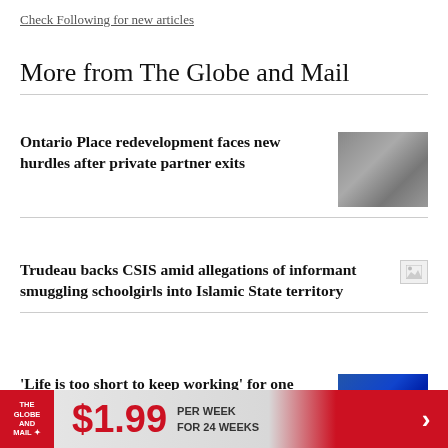Check Following for new articles
More from The Globe and Mail
Ontario Place redevelopment faces new hurdles after private partner exits
Trudeau backs CSIS amid allegations of informant smuggling schoolgirls into Islamic State territory
‘Life is too short to keep working’ for one cancer survivor, and advice on gifting assets to kids and
$1.99 PER WEEK FOR 24 WEEKS